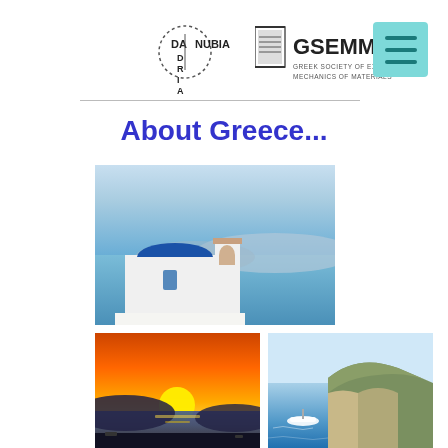[Figure (logo): DANUBIA ADRIA logo with circular dotted border]
[Figure (logo): GSEMM - Greek Society of Experimental Mechanics of Materials logo]
[Figure (other): Hamburger menu button in teal/cyan color]
About Greece...
[Figure (photo): Photo of Santorini Greece - white church with blue dome overlooking the Aegean Sea]
[Figure (photo): Photo of Greek sunset over the sea with orange and red sky]
[Figure (photo): Aerial photo of Greek island coastline with a white boat in blue waters]